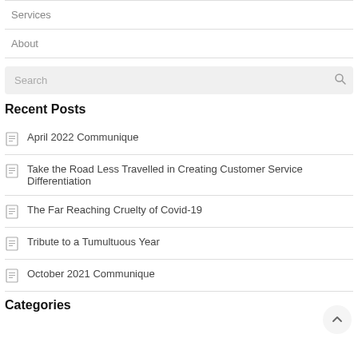Services
About
Recent Posts
April 2022 Communique
Take the Road Less Travelled in Creating Customer Service Differentiation
The Far Reaching Cruelty of Covid-19
Tribute to a Tumultuous Year
October 2021 Communique
Categories